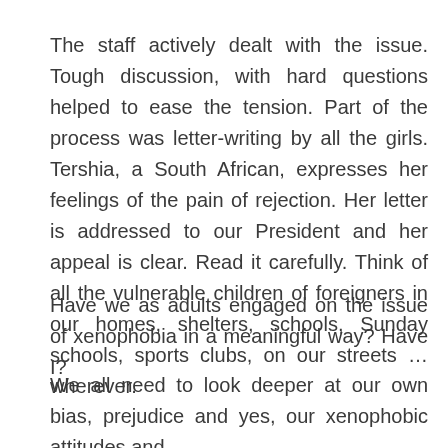The staff actively dealt with the issue. Tough discussion, with hard questions helped to ease the tension. Part of the process was letter-writing by all the girls. Tershia, a South African, expresses her feelings of the pain of rejection. Her letter is addressed to our President and her appeal is clear. Read it carefully. Think of all the vulnerable children of foreigners in our homes, shelters, schools, Sunday schools, sports clubs, on our streets … wherever.
Have we as adults engaged on the issue of xenophobia in a meaningful way? Have I?
We all need to look deeper at our own bias, prejudice and yes, our xenophobic attitudes and